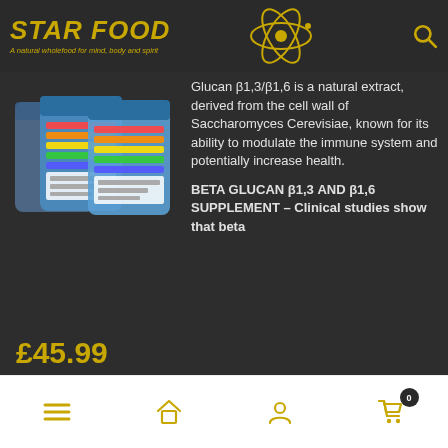STAR FOOD — A natural wholefood for mind, body and spirit
[Figure (photo): Three blue/white supplement powder pouches with colorful label design]
Glucan β1,3/β1,6 is a natural extract, derived from the cell wall of Saccharomyces Cerevisiae, known for its ability to modulate the immune system and potentially increase health.
BETA GLUCAN β1,3 AND β1,6 SUPPLEMENT – Clinical studies show that beta
£45.99
Navigation icons: menu, home, user, cart (0)